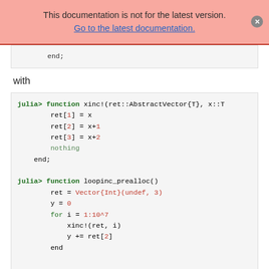This documentation is not for the latest version. Go to the latest documentation.
end;
with
julia> function xinc!(ret::AbstractVector{T}, x::T
        ret[1] = x
        ret[2] = x+1
        ret[3] = x+2
        nothing
    end;

julia> function loopinc_prealloc()
        ret = Vector{Int}(undef, 3)
        y = 0
        for i = 1:10^7
            xinc!(ret, i)
            y += ret[2]
        end